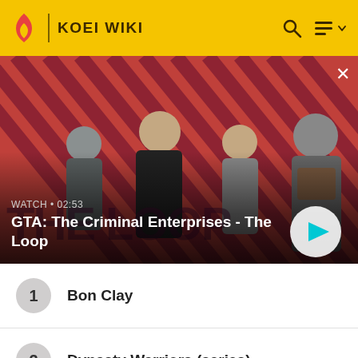KOEI WIKI
[Figure (screenshot): Video banner for GTA: The Criminal Enterprises - The Loop, showing characters on a red diagonal striped background with a play button]
WATCH • 02:53
GTA: The Criminal Enterprises - The Loop
1  Bon Clay
2  Dynasty Warriors (series)